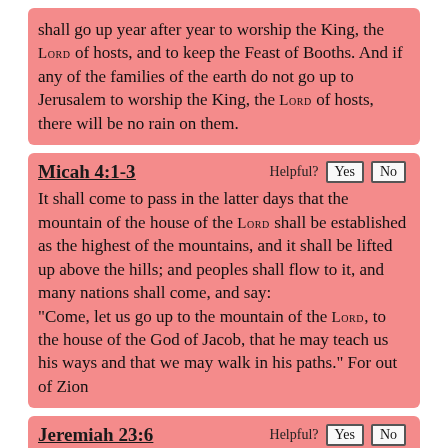shall go up year after year to worship the King, the Lord of hosts, and to keep the Feast of Booths. And if any of the families of the earth do not go up to Jerusalem to worship the King, the Lord of hosts, there will be no rain on them.
Micah 4:1-3
It shall come to pass in the latter days that the mountain of the house of the Lord shall be established as the highest of the mountains, and it shall be lifted up above the hills; and peoples shall flow to it, and many nations shall come, and say: “Come, let us go up to the mountain of the Lord, to the house of the God of Jacob, that he may teach us his ways and that we may walk in his paths.” For out of Zion
Jeremiah 23:6
In his days Judah will be saved, and Israel will dwell securely. And this is the name by which he will be called: ‘The Lord is